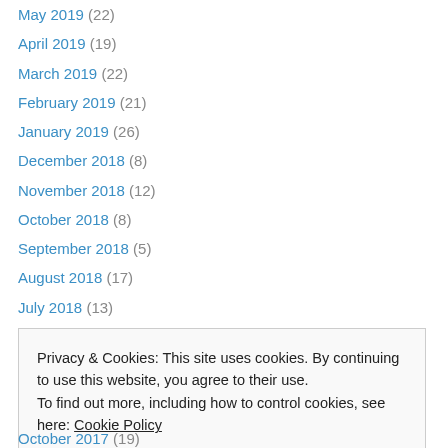May 2019 (22)
April 2019 (19)
March 2019 (22)
February 2019 (21)
January 2019 (26)
December 2018 (8)
November 2018 (12)
October 2018 (8)
September 2018 (5)
August 2018 (17)
July 2018 (13)
June 2018 (18)
May 2018 (15)
Privacy & Cookies: This site uses cookies. By continuing to use this website, you agree to their use. To find out more, including how to control cookies, see here: Cookie Policy
October 2017 (19)